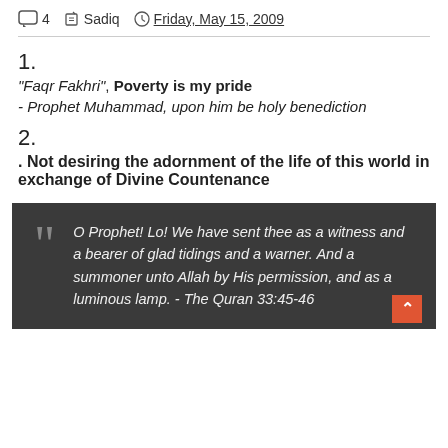4  Sadiq  Friday, May 15, 2009
1.
“Faqr Fakhri”, Poverty is my pride
- Prophet Muhammad, upon him be holy benediction
2.
. Not desiring the adornment of the life of this world in exchange of Divine Countenance
O Prophet! Lo! We have sent thee as a witness and a bearer of glad tidings and a warner. And a summoner unto Allah by His permission, and as a luminous lamp. - The Quran 33:45-46